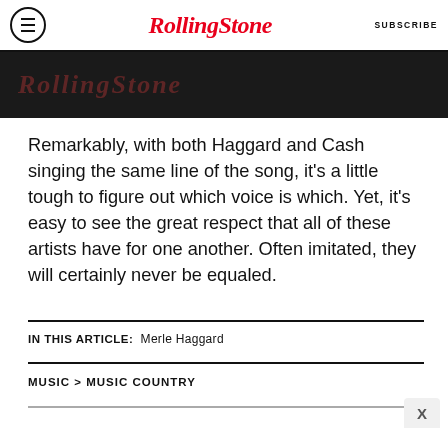RollingStone  SUBSCRIBE
[Figure (photo): Dark banner image showing Rolling Stone logo text in dim overlay]
Remarkably, with both Haggard and Cash singing the same line of the song, it's a little tough to figure out which voice is which. Yet, it's easy to see the great respect that all of these artists have for one another. Often imitated, they will certainly never be equaled.
IN THIS ARTICLE: Merle Haggard
MUSIC > MUSIC COUNTRY